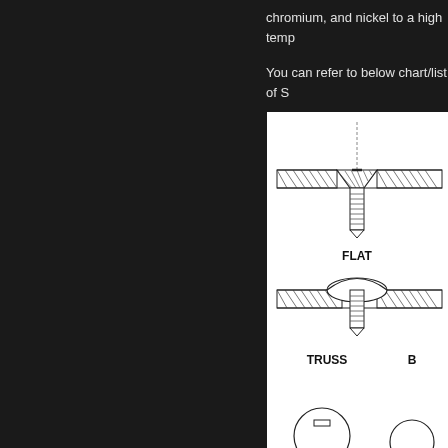chromium, and nickel to a high temp
You can refer to below chart/list of S
[Figure (engineering-diagram): Engineering diagram showing screw head types in cross-section. Visible types include FLAT (countersunk) screw and TRUSS head screw, with partial views of additional types at bottom. Each screw is shown inserted through a material with hatching.]